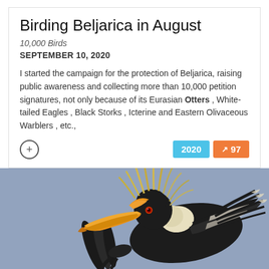Birding Beljarica in August
10,000 Birds
SEPTEMBER 10, 2020
I started the campaign for the protection of Beljarica, raising public awareness and collecting more than 10,000 petition signatures, not only because of its Eurasian Otters , White-tailed Eagles , Black Storks , Icterine and Eastern Olivaceous Warblers , etc.,
[Figure (photo): Close-up photograph of a Great Hornbill in flight against a grey sky, showing its distinctive large yellow-orange beak, black and white plumage, and yellow crest feathers fanned out.]